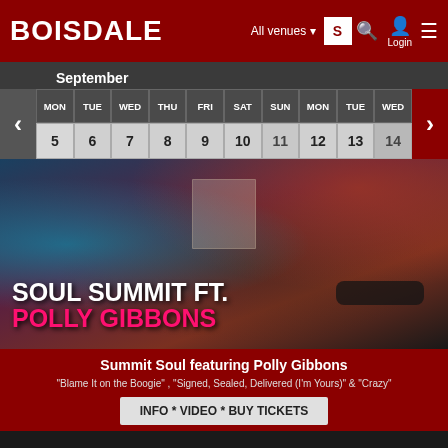BOISDALE
September
| MON | TUE | WED | THU | FRI | SAT | SUN | MON | TUE | WED |
| --- | --- | --- | --- | --- | --- | --- | --- | --- | --- |
| 5 | 6 | 7 | 8 | 9 | 10 | 11 | 12 | 13 | 14 |
[Figure (photo): Soul Summit ft. Polly Gibbons event promotional image with Motown/soul music collage background featuring performers, Hitsville USA building, and a vintage car. Large text reads SOUL SUMMIT FT. POLLY GIBBONS]
Summit Soul featuring Polly Gibbons
"Blame It on the Boogie" , "Signed, Sealed, Delivered (I'm Yours)" & "Crazy"
INFO * VIDEO * BUY TICKETS